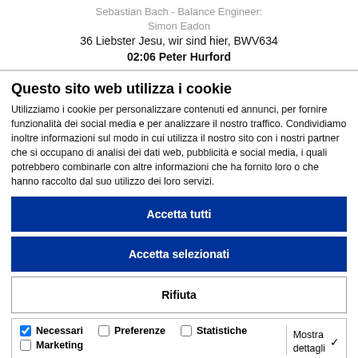Sebastian Bach - Balance Engineer: Simon Eadon
36 Liebster Jesu, wir sind hier, BWV634
02:06 Peter Hurford
Questo sito web utilizza i cookie
Utilizziamo i cookie per personalizzare contenuti ed annunci, per fornire funzionalità dei social media e per analizzare il nostro traffico. Condividiamo inoltre informazioni sul modo in cui utilizza il nostro sito con i nostri partner che si occupano di analisi dei dati web, pubblicità e social media, i quali potrebbero combinarle con altre informazioni che ha fornito loro o che hanno raccolto dal suo utilizzo dei loro servizi.
Accetta tutti
Accetta selezionati
Rifiuta
Necessari  Preferenze  Statistiche  Marketing  Mostra dettagli